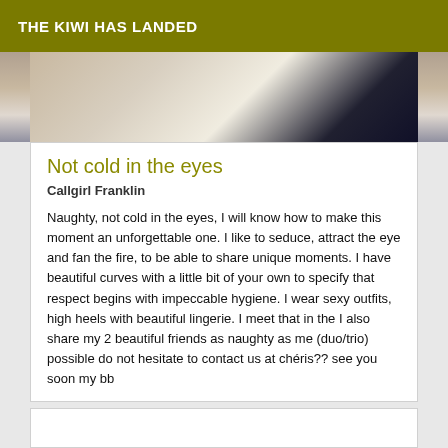THE KIWI HAS LANDED
[Figure (photo): Partial photo showing what appears to be a person's head/hair and a surface, cropped across the top of the card]
Not cold in the eyes
Callgirl Franklin
Naughty, not cold in the eyes, I will know how to make this moment an unforgettable one. I like to seduce, attract the eye and fan the fire, to be able to share unique moments. I have beautiful curves with a little bit of your own to specify that respect begins with impeccable hygiene. I wear sexy outfits, high heels with beautiful lingerie. I meet that in the I also share my 2 beautiful friends as naughty as me (duo/trio) possible do not hesitate to contact us at chéris?? see you soon my bb